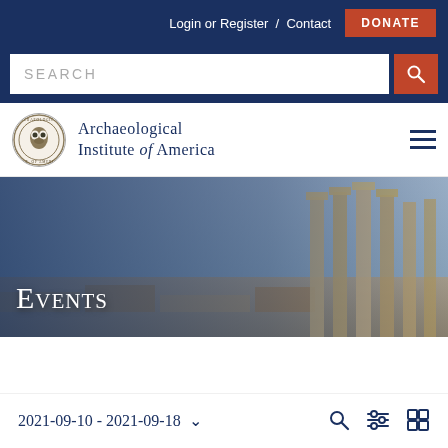Login or Register / Contact  DONATE
SEARCH
[Figure (logo): Archaeological Institute of America seal/logo and organization name]
[Figure (photo): Hero banner image of ancient Roman/Greek ruins with stone columns, overlaid with the title EVENTS]
Events
2021-09-10 - 2021-09-18
[Figure (other): Filter bar icons: search, filter/equalizer, grid view]